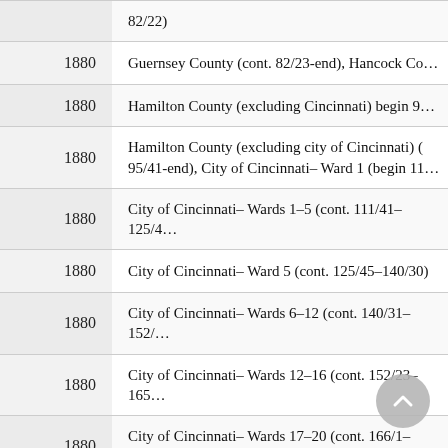| Year | Description |
| --- | --- |
|  | 82/22) |
| 1880 | Guernsey County (cont. 82/23-end), Hancock Co… |
| 1880 | Hamilton County (excluding Cincinnati) begin 9… |
| 1880 | Hamilton County (excluding city of Cincinnati) (… 95/41-end), City of Cincinnati– Ward 1 (begin 11… |
| 1880 | City of Cincinnati– Wards 1–5 (cont. 111/41–125/4… |
| 1880 | City of Cincinnati– Ward 5 (cont. 125/45–140/30) |
| 1880 | City of Cincinnati– Wards 6–12 (cont. 140/31–152/… |
| 1880 | City of Cincinnati– Wards 12–16 (cont. 152/23–165… |
| 1880 | City of Cincinnati– Wards 17–20 (cont. 166/1–180/… |